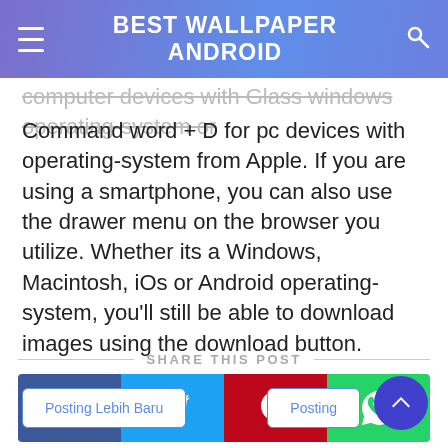BEST WALLPAPER ANDROID
computer devices with Glass windows operating-system or Command word + D for pc devices with operating-system from Apple. If you are using a smartphone, you can also use the drawer menu on the browser you utilize. Whether its a Windows, Macintosh, iOs or Android operating-system, you'll still be able to download images using the download button.
SHARE THIS POST
[Figure (infographic): Social share buttons: Facebook (blue), Twitter (light blue), Pinterest (red), WhatsApp (green)]
Posting Lebih Baru
Posting